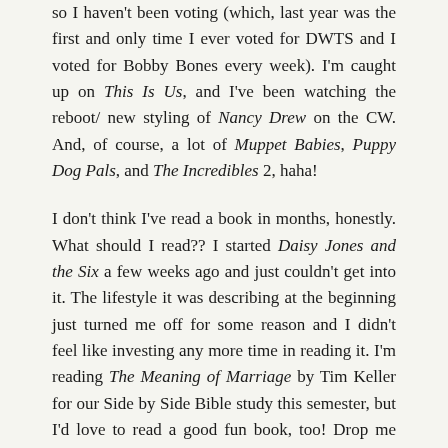so I haven't been voting (which, last year was the first and only time I ever voted for DWTS and I voted for Bobby Bones every week). I'm caught up on This Is Us, and I've been watching the reboot/ new styling of Nancy Drew on the CW. And, of course, a lot of Muppet Babies, Puppy Dog Pals, and The Incredibles 2, haha!
I don't think I've read a book in months, honestly. What should I read?? I started Daisy Jones and the Six a few weeks ago and just couldn't get into it. The lifestyle it was describing at the beginning just turned me off for some reason and I didn't feel like investing any more time in reading it. I'm reading The Meaning of Marriage by Tim Keller for our Side by Side Bible study this semester, but I'd love to read a good fun book, too! Drop me some suggestions in the comments! 🙂